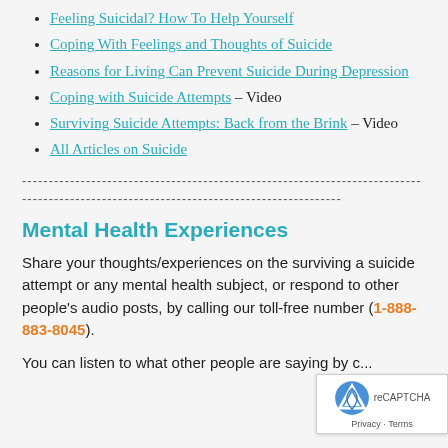Feeling Suicidal? How To Help Yourself
Coping With Feelings and Thoughts of Suicide
Reasons for Living Can Prevent Suicide During Depression
Coping with Suicide Attempts – Video
Surviving Suicide Attempts: Back from the Brink – Video
All Articles on Suicide
------------------------------------------------------------------------------------------------------------------------------------------
Mental Health Experiences
Share your thoughts/experiences on the surviving a suicide attempt or any mental health subject, or respond to other people's audio posts, by calling our toll-free number (1-888-883-8045).
You can listen to what other people are saying by c...